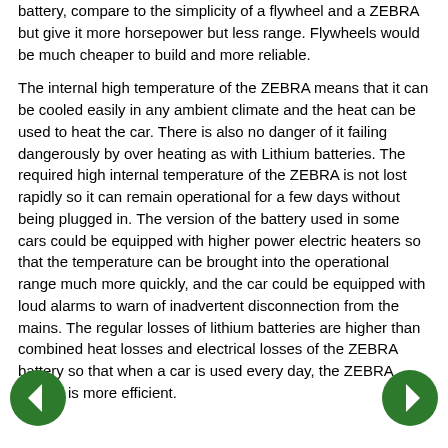battery, compare to the simplicity of a flywheel and a ZEBRA but give it more horsepower but less range. Flywheels would be much cheaper to build and more reliable.
The internal high temperature of the ZEBRA means that it can be cooled easily in any ambient climate and the heat can be used to heat the car. There is also no danger of it failing dangerously by over heating as with Lithium batteries. The required high internal temperature of the ZEBRA is not lost rapidly so it can remain operational for a few days without being plugged in. The version of the battery used in some cars could be equipped with higher power electric heaters so that the temperature can be brought into the operational range much more quickly, and the car could be equipped with loud alarms to warn of inadvertent disconnection from the mains. The regular losses of lithium batteries are higher than combined heat losses and electrical losses of the ZEBRA battery so that when a car is used every day, the ZEBRA battery is more efficient.
[Figure (other): Left navigation arrow button (green circle with white left arrow)]
[Figure (other): Right navigation arrow button (green circle with white right arrow)]